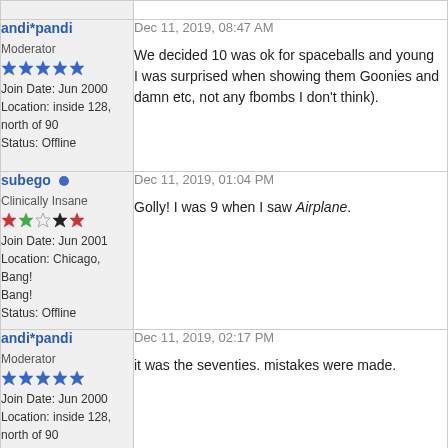| User | Post |
| --- | --- |
| andi*pandi
Moderator
★★★★★
Join Date: Jun 2000
Location: inside 128, north of 90
Status: Offline | Dec 11, 2019, 08:47 AM
We decided 10 was ok for spaceballs and young... I was surprised when showing them Goonies and... damn etc, not any fbombs I don't think). |
| subego •
Clinically Insane
★★☆★★
Join Date: Jun 2001
Location: Chicago, Bang! Bang!
Status: Offline | Dec 11, 2019, 01:04 PM
Golly! I was 9 when I saw Airplane. |
| andi*pandi
Moderator
★★★★★
Join Date: Jun 2000
Location: inside 128, north of 90
Status: Offline | Dec 11, 2019, 02:17 PM
it was the seventies. mistakes were made. |